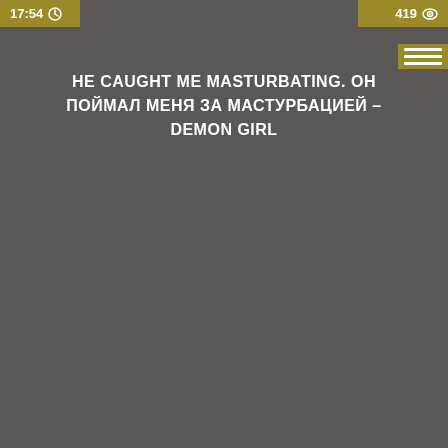17:54
419
HE CAUGHT ME MASTURBATING. ОН ПОЙМАЛ МЕНЯ ЗА МАСТУРБАЦИЕЙ - DEMON GIRL